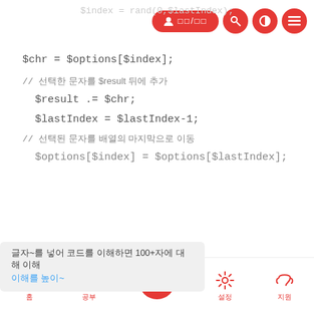$index = rand(0,$lastIndex);
[Figure (screenshot): Mobile app navigation bar with login/logout button and icons for search, theme, and menu]
$chr = $options[$index];
// 선택한 문자를 $result 뒤에 추가
$result .= $chr;
$lastIndex = $lastIndex-1;
// 선택된 문자를 배열의 마지막으로 이동
$options[$index] = $options[$lastIndex];
글자~를 넣어 코드를 이해하면 100+자에 대해 이해
이해를 높이~
echo $result."n";
}
?>
홈  공부  추가  설정  지원